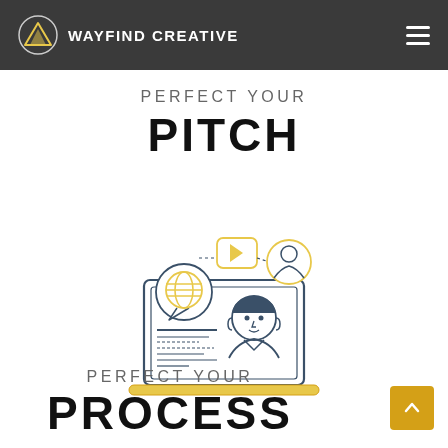WAYFIND CREATIVE
PERFECT YOUR
PITCH
[Figure (illustration): Line art illustration of a laptop with a person's face on screen, a speech bubble with a globe/world icon, a video play button, and a small circular portrait icon — representing online pitching or video presentation.]
PERFECT YOUR
PROCESS